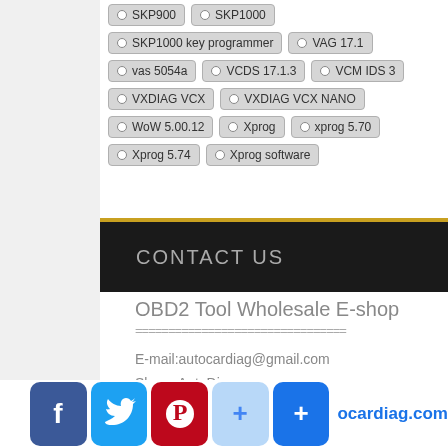SKP900, SKP1000, SKP1000 key programmer, VAG 17.1, vas 5054a, VCDS 17.1.3, VCM IDS 3, VXDIAG VCX, VXDIAG VCX NANO, WoW 5.00.12, Xprog, xprog 5.70, Xprog 5.74, Xprog software
CONTACT US
OBD2 Tool Wholesale E-shop
================================
E-mail:autocardiag@gmail.com
Skype:AutoDiag
Whatsapp:86-13667154167
[Figure (infographic): Social media icons row: Facebook, Twitter, Pinterest, Google+, Google+ and text 'ocardiag.com']